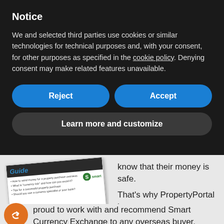Notice
We and selected third parties use cookies or similar technologies for technical purposes and, with your consent, for other purposes as specified in the cookie policy. Denying consent may make related features unavailable.
Reject
Accept
Learn more and customize
[Figure (photo): Smart Currency Exchange brochure titled 'Guide' with bullet points about sending money for property purchase overseas, currency risk, tips for successful property purchase, and whether to use a currency specialist or your bank. Green footer with phone number +44 (0)20 3733 1099.]
know that their money is safe.

That's why PropertyPortal is proud to work with and recommend Smart Currency Exchange to any overseas buyer.